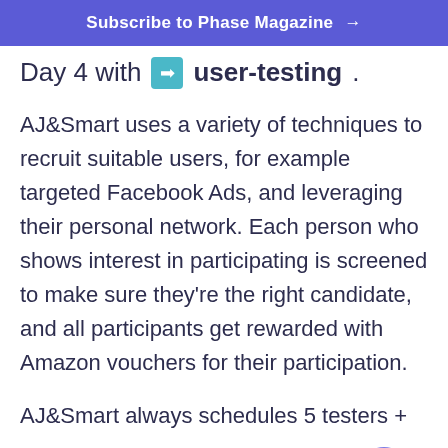Subscribe to Phase Magazine →
Day 4 with ➡ user-testing.
AJ&Smart uses a variety of techniques to recruit suitable users, for example targeted Facebook Ads, and leveraging their personal network. Each person who shows interest in participating is screened to make sure they're the right candidate, and all participants get rewarded with Amazon vouchers for their participation.
AJ&Smart always schedules 5 testers +